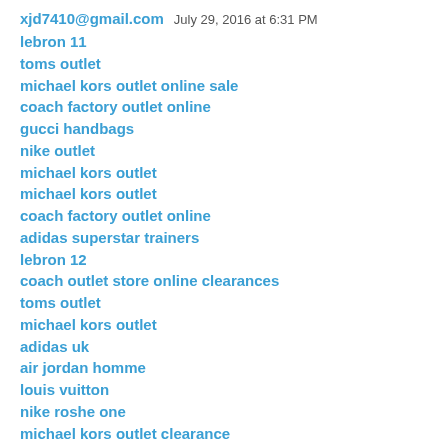xjd7410@gmail.com  July 29, 2016 at 6:31 PM
lebron 11
toms outlet
michael kors outlet online sale
coach factory outlet online
gucci handbags
nike outlet
michael kors outlet
michael kors outlet
coach factory outlet online
adidas superstar trainers
lebron 12
coach outlet store online clearances
toms outlet
michael kors outlet
adidas uk
air jordan homme
louis vuitton
nike roshe one
michael kors outlet clearance
michael kors outlet clearance
michael kors outlet clearance